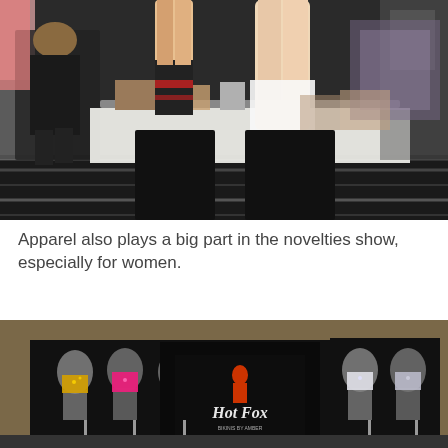[Figure (photo): Trade show booth displaying novelty pillows/body pillows shaped like legs wearing stockings, set on black display pedestals with a white tablecloth and various merchandise on tables in the background.]
Apparel also plays a big part in the novelties show, especially for women.
[Figure (photo): Hot Fox Bikinis by Amber trade show booth showing mannequin torsos displaying bedazzled and colorful bikini tops and swimwear, with a black backdrop banner showing the Hot Fox logo and website.]